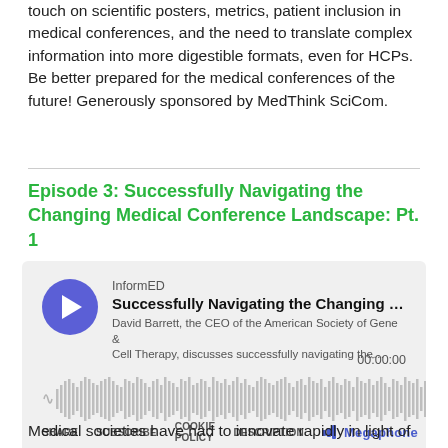touch on scientific posters, metrics, patient inclusion in medical conferences, and the need to translate complex information into more digestible formats, even for HCPs. Be better prepared for the medical conferences of the future! Generously sponsored by MedThink SciCom.
Episode 3: Successfully Navigating the Changing Medical Conference Landscape: Pt. 1
[Figure (other): Embedded podcast audio player from Megaphone showing InformED podcast episode 'Successfully Navigating the Changing Me...' by David Barrett, CEO of the American Society of Gene & Cell Therapy. Displays waveform, timestamp 00:00:00, and controls: SHARE, SUBSCRIBE, COOKIE POLICY, DESCRIPTION.]
Medical societies have had to innovate rapidly in light of